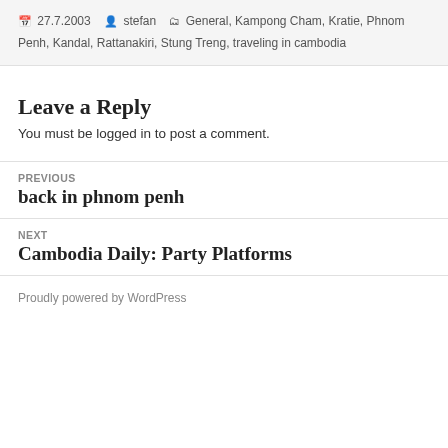📅 27.7.2003  👤 stefan  🗂 General, Kampong Cham, Kratie, Phnom Penh, Kandal, Rattanakiri, Stung Treng, traveling in cambodia
Leave a Reply
You must be logged in to post a comment.
PREVIOUS
back in phnom penh
NEXT
Cambodia Daily: Party Platforms
Proudly powered by WordPress